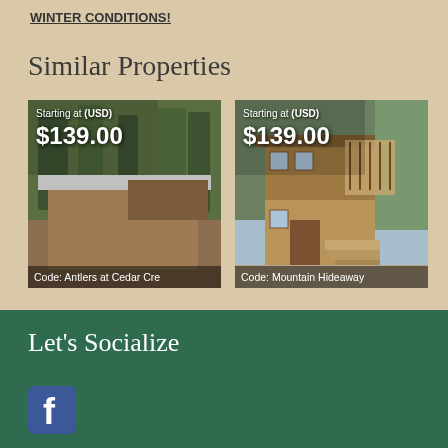WINTER CONDITIONS!
Similar Properties
[Figure (photo): Photo of cabin/property with trees. Overlay text: Starting at (USD) $139.00. Code: Antlers at Cedar Cre]
[Figure (photo): Photo of two-story mountain house with stairs and trees. Overlay text: Starting at (USD) $139.00. Code: Mountain Hideaway]
Let's Socialize
[Figure (logo): Facebook logo icon (white on dark teal background)]